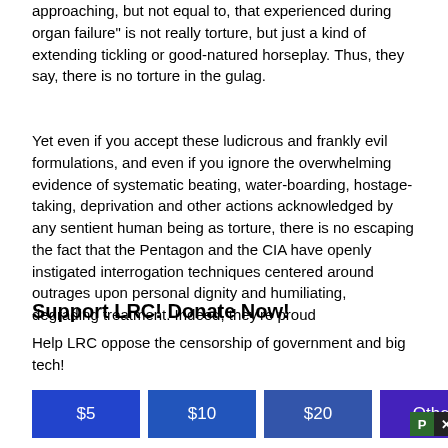approaching, but not equal to, that experienced during organ failure" is not really torture, but just a kind of extending tickling or good-natured horseplay. Thus, they say, there is no torture in the gulag.
Yet even if you accept these ludicrous and frankly evil formulations, and even if you ignore the overwhelming evidence of systematic beating, water-boarding, hostage-taking, deprivation and other actions acknowledged by any sentient human being as torture, there is no escaping the fact that the Pentagon and the CIA have openly instigated interrogation techniques centered around outrages upon personal dignity and humiliating, degrading treatment. Indeed, they're proud
Support LRC! Donate Now!
Help LRC oppose the censorship of government and big tech!